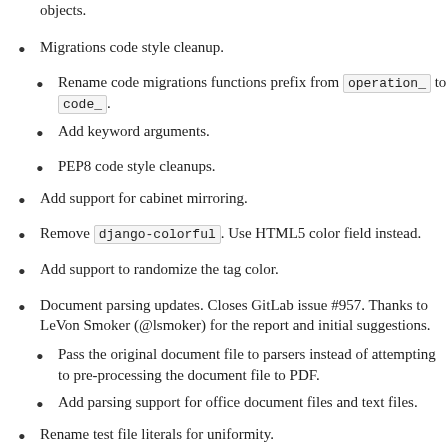objects.
Migrations code style cleanup.
Rename code migrations functions prefix from operation_ to code_.
Add keyword arguments.
PEP8 code style cleanups.
Add support for cabinet mirroring.
Remove django-colorful. Use HTML5 color field instead.
Add support to randomize the tag color.
Document parsing updates. Closes GitLab issue #957. Thanks to LeVon Smoker (@lsmoker) for the report and initial suggestions.
Pass the original document file to parsers instead of attempting to pre-processing the document file to PDF.
Add parsing support for office document files and text files.
Rename test file literals for uniformity.